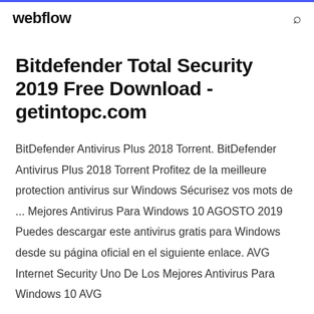webflow
Bitdefender Total Security 2019 Free Download - getintopc.com
BitDefender Antivirus Plus 2018 Torrent. BitDefender Antivirus Plus 2018 Torrent Profitez de la meilleure protection antivirus sur Windows Sécurisez vos mots de ... Mejores Antivirus Para Windows 10 AGOSTO 2019 Puedes descargar este antivirus gratis para Windows desde su página oficial en el siguiente enlace. AVG Internet Security Uno De Los Mejores Antivirus Para Windows 10 AVG